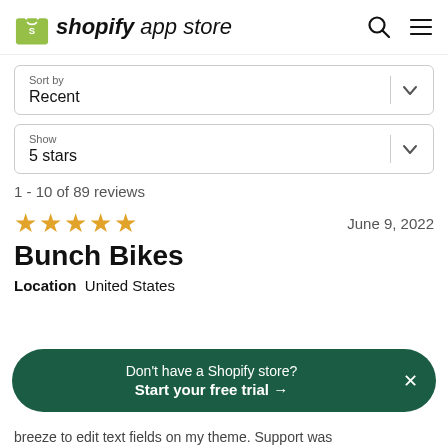shopify app store
Sort by
Recent
Show
5 stars
1 - 10 of 89 reviews
★★★★★  June 9, 2022
Bunch Bikes
Location  United States
Don't have a Shopify store?
Start your free trial →
breeze to edit text fields on my theme. Support was